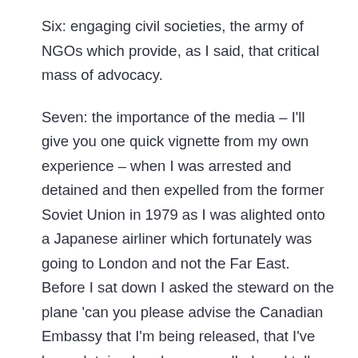Six: engaging civil societies, the army of NGOs which provide, as I said, that critical mass of advocacy.
Seven: the importance of the media – I'll give you one quick vignette from my own experience – when I was arrested and detained and then expelled from the former Soviet Union in 1979 as I was alighted onto a Japanese airliner which fortunately was going to London and not the Far East. Before I sat down I asked the steward on the plane 'can you please advise the Canadian Embassy that I'm being released, that I've been detained and now expelled, and tell Dan Fisher, the Moscow Correspondent for Los Angeles Times that I won't be able to meet him